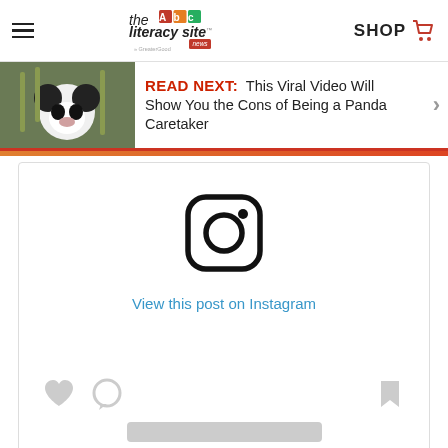the literacy site news | SHOP
READ NEXT: This Viral Video Will Show You the Cons of Being a Panda Caretaker
[Figure (screenshot): Instagram embed placeholder showing Instagram logo icon and 'View this post on Instagram' link, with heart, comment, and bookmark icons at bottom]
View this post on Instagram